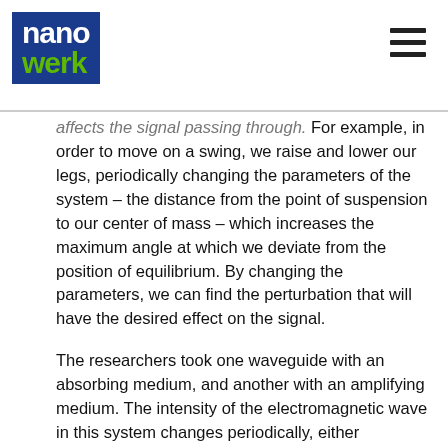nanowerk
affects the signal passing through. For example, in order to move on a swing, we raise and lower our legs, periodically changing the parameters of the system – the distance from the point of suspension to our center of mass – which increases the maximum angle at which we deviate from the position of equilibrium. By changing the parameters, we can find the perturbation that will have the desired effect on the signal.
The researchers took one waveguide with an absorbing medium, and another with an amplifying medium. The intensity of the electromagnetic wave in this system changes periodically, either increasing, or decreasing. This is because the electromagnetic wave propagating along one of the waveguides interacts with the other waveguide (the field of the first waveguide is different from zero at the location of the second waveguide and vice versa), which causes the field to flow from one waveguide to the other. Depending on which of the waveguides (absorbing/amplifying) the field maximum is in, the